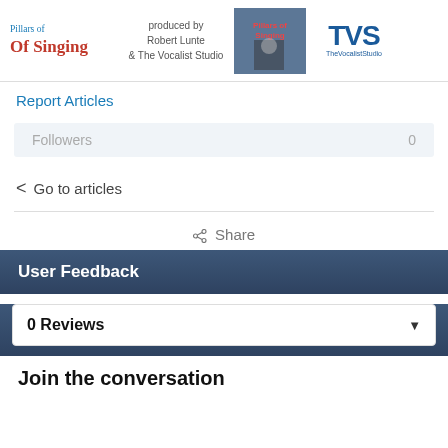[Figure (logo): Top banner with 'Of Singing' title in red serif, 'produced by Robert Lunte & The Vocalist Studio' text, a book cover image showing 'Pillars of Singing', and TVS logo]
Report Articles
Followers    0
< Go to articles
Share
User Feedback
0 Reviews
Join the conversation